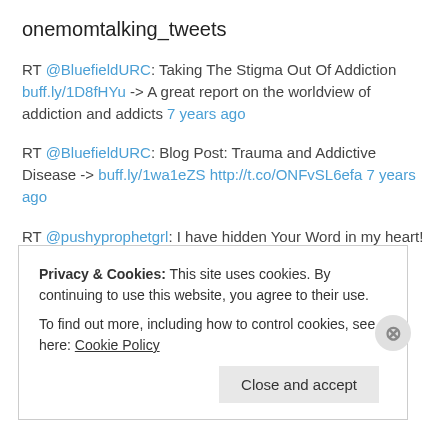onemomtalking_tweets
RT @BluefieldURC: Taking The Stigma Out Of Addiction buff.ly/1D8fHYu -> A great report on the worldview of addiction and addicts 7 years ago
RT @BluefieldURC: Blog Post: Trauma and Addictive Disease -> buff.ly/1wa1eZS http://t.co/ONFvSL6efa 7 years ago
RT @pushyprophetgrl: I have hidden Your Word in my heart! ow.ly/i/7eu3K #scripture #healthyhabits 7 years ago
I've been gone from twitter for awhile. Sorry to all who I haven't responded to. More to come! 7 years ago
Privacy & Cookies: This site uses cookies. By continuing to use this website, you agree to their use.
To find out more, including how to control cookies, see here: Cookie Policy
Close and accept